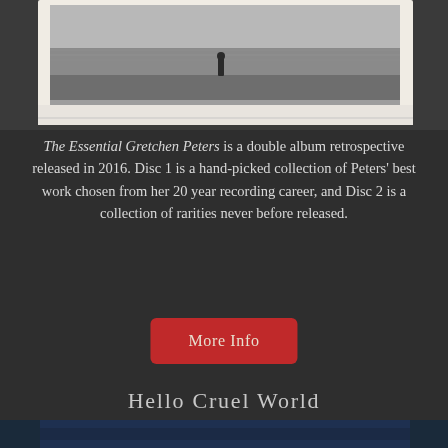[Figure (photo): Black and white photograph of a person standing on a beach near the water, framed with a white border, visible at the top of the page, partially cropped]
The Essential Gretchen Peters is a double album retrospective released in 2016. Disc 1 is a hand-picked collection of Peters' best work chosen from her 20 year recording career, and Disc 2 is a collection of rarities never before released.
More Info
Hello Cruel World
[Figure (photo): Partial view of a dark blue-toned photograph visible at the bottom edge of the page, cropped]